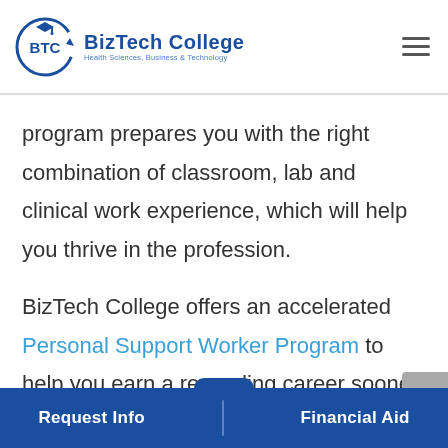BizTech College — Health Sciences, Business & Technology
program prepares you with the right combination of classroom, lab and clinical work experience, which will help you thrive in the profession.
BizTech College offers an accelerated Personal Support Worker Program to help you earn a rewarding career sooner than you
Request Info | Financial Aid